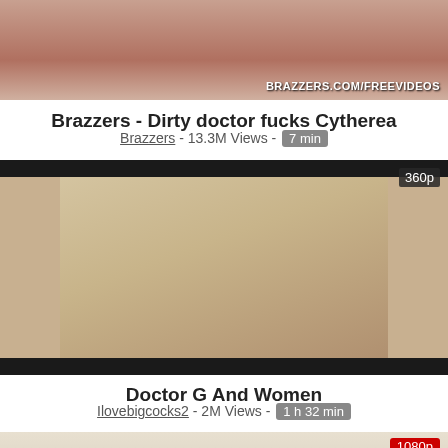[Figure (photo): Video thumbnail showing adult content with watermark BRAZZERS.COM/FREEVIDEOS]
Brazzers - Dirty doctor fucks Cytherea
Brazzers - 13.3M Views - 7 min
[Figure (photo): Video thumbnail labeled 360p showing adult content in a medical office setting]
Doctor G And Women
Ilovebigcocks2 - 2M Views - 1 h 32 min
[Figure (photo): Partial video thumbnail labeled 1080p]